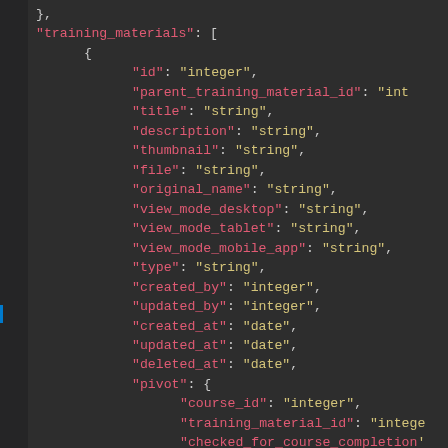JSON schema code snippet showing training_materials array with fields: id, parent_training_material_id, title, description, thumbnail, file, original_name, view_mode_desktop, view_mode_tablet, view_mode_mobile_app, type, created_by, updated_by, created_at, updated_at, deleted_at, pivot object with course_id, training_material_id, checked_for_course_completion, publish_from, publish_to